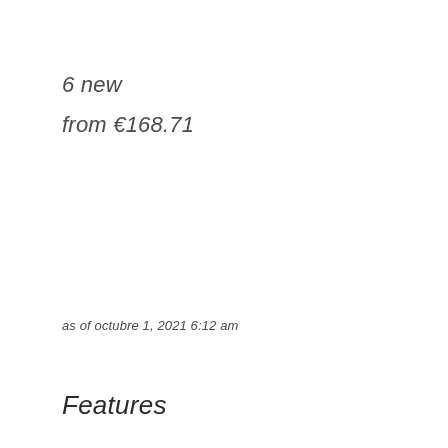6 new
from €168.71
as of octubre 1, 2021 6:12 am
Features